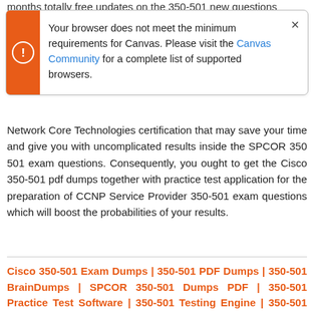months totally free updates on the 350-501 new questions
[Figure (screenshot): Browser warning dialog box with orange icon on the left, text reading: 'Your browser does not meet the minimum requirements for Canvas. Please visit the Canvas Community for a complete list of supported browsers.' with a close (×) button on the right.]
Network Core Technologies certification that may save your time and give you with uncomplicated results inside the SPCOR 350 501 exam questions. Consequently, you ought to get the Cisco 350-501 pdf dumps together with practice test application for the preparation of CCNP Service Provider 350-501 exam questions which will boost the probabilities of your results.
Cisco 350-501 Exam Dumps | 350-501 PDF Dumps | 350-501 BrainDumps | SPCOR 350-501 Dumps PDF | 350-501 Practice Test Software | 350-501 Testing Engine | 350-501 Practice Questions | 350-501 PDF Questions | Implementing and Operating Cisco Service Provider Network Core Technologies Exam Questions | Cisco 350-